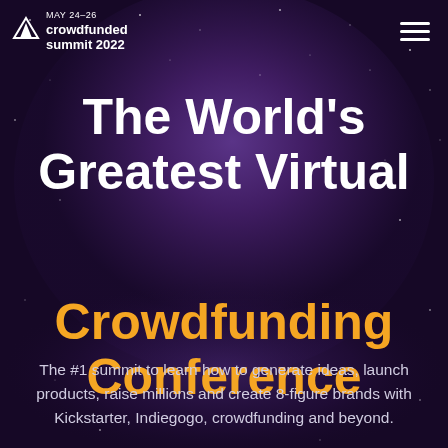MAY 24-26 crowdfunded summit 2022
The World's Greatest Virtual Crowdfunding Conference
The #1 summit to learn how to generate ideas, launch products, raise millions and create 8-figure brands with Kickstarter, Indiegogo, crowdfunding and beyond.